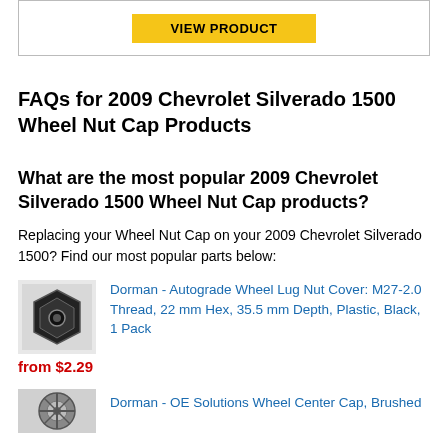[Figure (other): VIEW PRODUCT button inside a bordered box]
FAQs for 2009 Chevrolet Silverado 1500 Wheel Nut Cap Products
What are the most popular 2009 Chevrolet Silverado 1500 Wheel Nut Cap products?
Replacing your Wheel Nut Cap on your 2009 Chevrolet Silverado 1500? Find our most popular parts below:
[Figure (photo): Small product photo of a black wheel lug nut cover]
Dorman - Autograde Wheel Lug Nut Cover: M27-2.0 Thread, 22 mm Hex, 35.5 mm Depth, Plastic, Black, 1 Pack
from $2.29
[Figure (photo): Small product photo of a brushed wheel center cap]
Dorman - OE Solutions Wheel Center Cap, Brushed